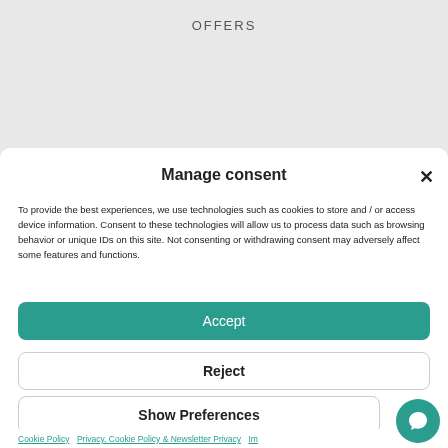OFFERS
Manage consent
To provide the best experiences, we use technologies such as cookies to store and / or access device information. Consent to these technologies will allow us to process data such as browsing behavior or unique IDs on this site. Not consenting or withdrawing consent may adversely affect some features and functions.
Accept
Reject
Show Preferences
Cookie Policy   Privacy, Cookie Policy & Newsletter Privacy   Im...